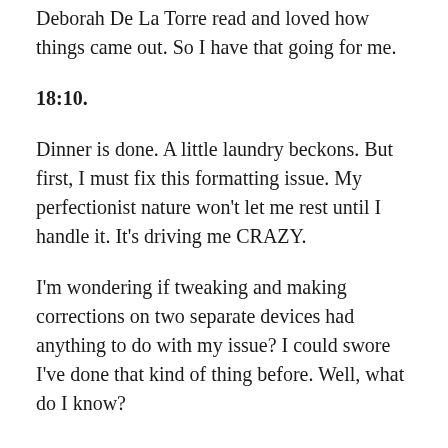Deborah De La Torre read and loved how things came out. So I have that going for me.
18:10.
Dinner is done. A little laundry beckons. But first, I must fix this formatting issue. My perfectionist nature won't let me rest until I handle it. It's driving me CRAZY.
I'm wondering if tweaking and making corrections on two separate devices had anything to do with my issue? I could swore I've done that kind of thing before. Well, what do I know?